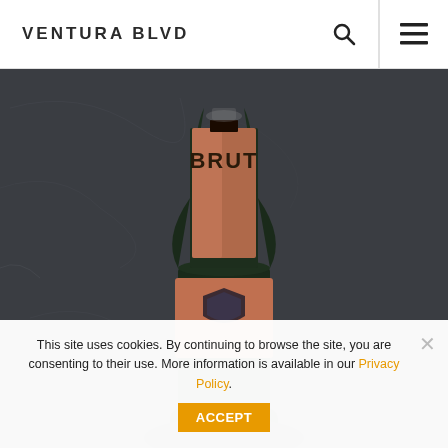VENTURA BLVD
[Figure (photo): Photograph of a Brut Crémant d'Alsace rosé champagne bottle against a dark slate background, showing the upper portion of the bottle with rose gold foil and label]
This site uses cookies. By continuing to browse the site, you are consenting to their use. More information is available in our Privacy Policy.
ACCEPT